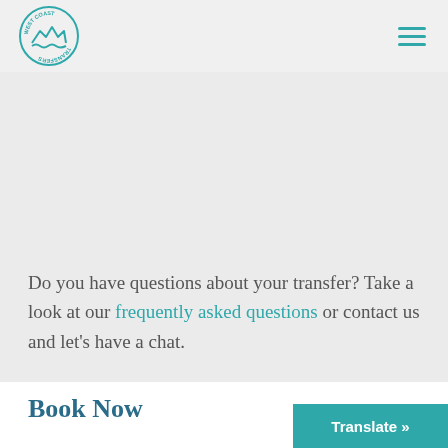[Figure (logo): West Coast Transfers circular logo with mountain/wave illustration in teal]
Do you have questions about your transfer? Take a look at our frequently asked questions or contact us and let's have a chat.
Book Now
Translate »